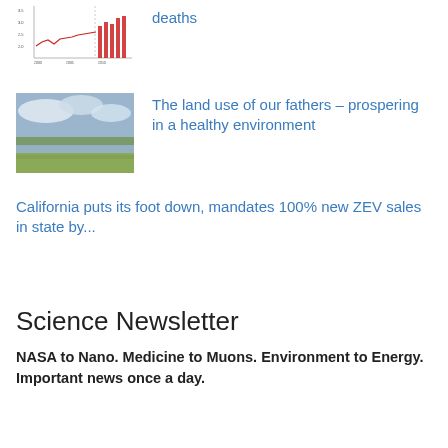[Figure (continuous-plot): Small thumbnail of a line and bar chart showing deaths over time]
deaths
[Figure (photo): Landscape photo of wetlands with cloudy sky]
The land use of our fathers – prospering in a healthy environment
California puts its foot down, mandates 100% new ZEV sales in state by...
Science Newsletter
NASA to Nano. Medicine to Muons. Environment to Energy. Important news once a day.